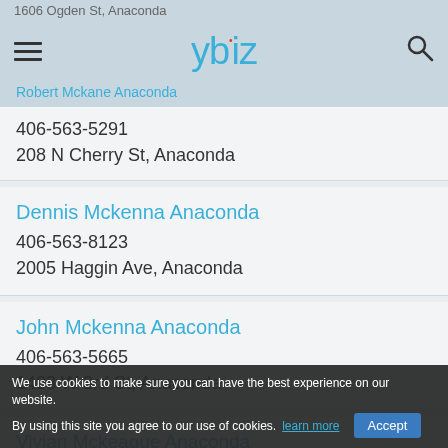ybiz
1606 Ogden St, Anaconda
Robert Mckane Anaconda
406-563-5291
208 N Cherry St, Anaconda
Dennis Mckenna Anaconda
406-563-8123
2005 Haggin Ave, Anaconda
John Mckenna Anaconda
406-563-5665
1403 W 3rd St, Anaconda
Vivian Mckeague Anaconda
406-563-9682
101 Elm St, Anaconda
We use cookies to make sure you can have the best experience on our website. By using this site you agree to our use of cookies. learn more Accept